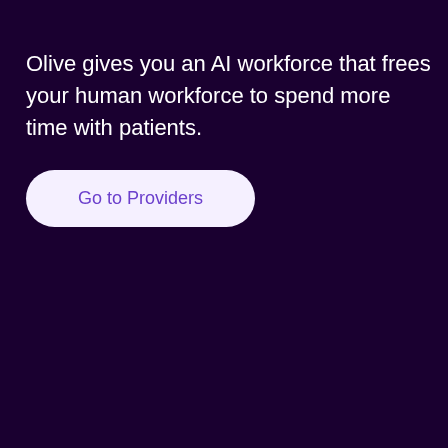Olive gives you an AI workforce that frees your human workforce to spend more time with patients.
Go to Providers